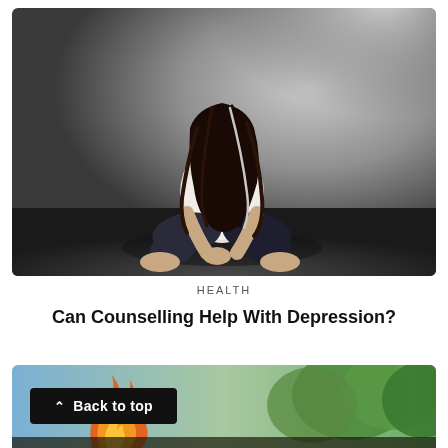[Figure (photo): Person with long dark hair sitting cross-legged on the floor against a grey wall, head bowed down, looking despondent. Wearing a white top and dark jeans, barefoot.]
HEALTH
Can Counselling Help With Depression?
[Figure (photo): Partial view of fire and green foliage/trees in the background.]
Back to top